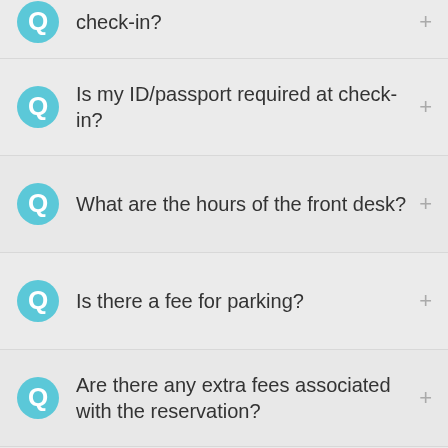How old do you have to be to check-in?
Is my ID/passport required at check-in?
What are the hours of the front desk?
Is there a fee for parking?
Are there any extra fees associated with the reservation?
Do you offer free Wi-Fi?